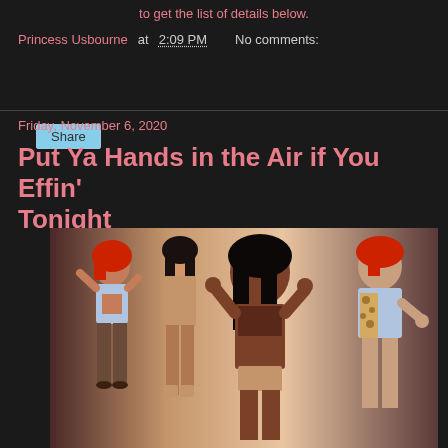to get the list of details below.
Princess Usbourne at 2:09 PM   No comments:
Share
Friday, November 6, 2020
Put Ya Hands in the Air if You Effin' Tonight
[Figure (illustration): Digital illustration of four stylized women in urban/casual fashion poses against a light background]